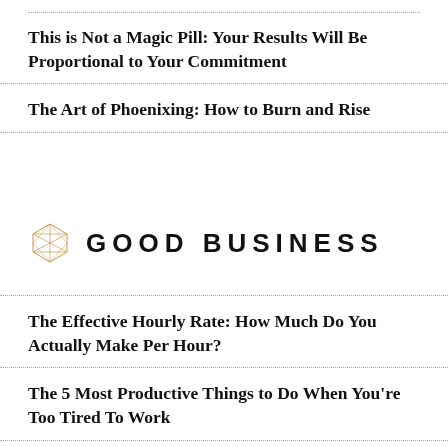This is Not a Magic Pill: Your Results Will Be Proportional to Your Commitment
The Art of Phoenixing: How to Burn and Rise
[Figure (logo): Good Business logo with geometric polyhedron icon and text GOOD BUSINESS in wide-spaced bold uppercase sans-serif]
The Effective Hourly Rate: How Much Do You Actually Make Per Hour?
The 5 Most Productive Things to Do When You're Too Tired To Work